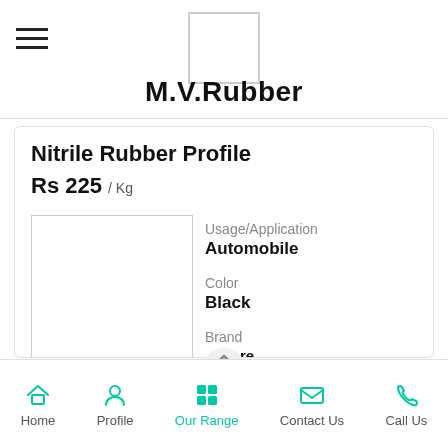M.V.Rubber
Nitrile Rubber Profile
Rs 225 / Kg
Usage/Application
Automobile

Color
Black

Brand
...more
Home | Profile | Our Range | Contact Us | Call Us